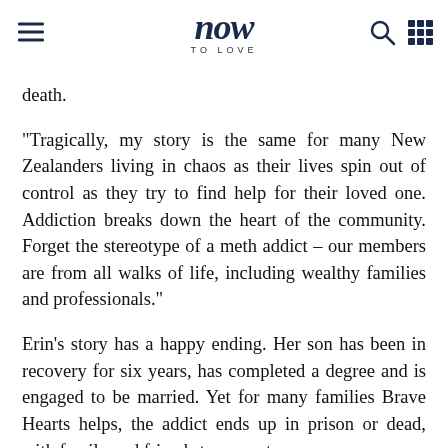now to love
death.
"Tragically, my story is the same for many New Zealanders living in chaos as their lives spin out of control as they try to find help for their loved one. Addiction breaks down the heart of the community. Forget the stereotype of a meth addict – our members are from all walks of life, including wealthy families and professionals."
Erin's story has a happy ending. Her son has been in recovery for six years, has completed a degree and is engaged to be married. Yet for many families Brave Hearts helps, the addict ends up in prison or dead, with family and friends torn apart.